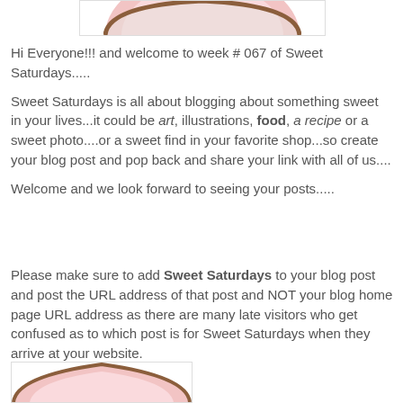[Figure (illustration): Partial circular illustration at the top, cropped, showing a pink/white decorative element with brown border]
Hi Everyone!!! and welcome to week # 067 of Sweet Saturdays.....
Sweet Saturdays is all about blogging about something sweet in your lives...it could be art, illustrations, food, a recipe or a sweet photo....or a sweet find in your favorite shop...so create your blog post and pop back and share your link with all of us....
Welcome and we look forward to seeing your posts.....
Please make sure to add Sweet Saturdays to your blog post and post the URL address of that post and NOT your blog home page URL address as there are many late visitors who get confused as to which post is for Sweet Saturdays when they arrive at your website.
[Figure (illustration): Partial circular illustration at the bottom, cropped, showing a decorative element]